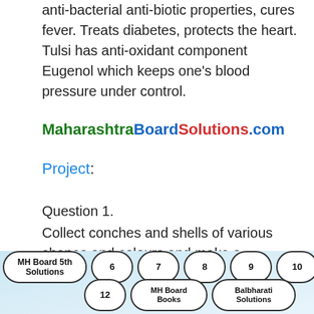anti-bacterial anti-biotic properties, cures fever. Treats diabetes, protects the heart. Tulsi has anti-oxidant component Eugenol which keeps one's blood pressure under control.
MaharashtraBoardSolutions.com
Project:
Question 1.
Collect conches and shells of various shapes and colours and make a decorative article.
Question 2.
[Figure (other): Navigation pill buttons at page bottom: MH Board 5th Solutions, 6, 7, 8, 9, 10, 11, 12, MH Board Books, Balbharati Solutions]